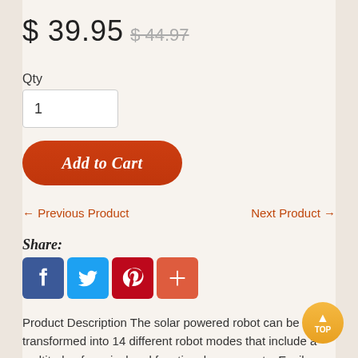$ 39.95  $ 44.97
Qty
1
Add to Cart
← Previous Product
Next Product →
Share:
[Figure (other): Social media share icons: Facebook, Twitter, Pinterest, and a plus/more button]
Product Description The solar powered robot can be transformed into 14 different robot modes that include a multitude of comical and functional movements. Easily change from a wagging-tail dog - running beetle - walking crab - surfer -